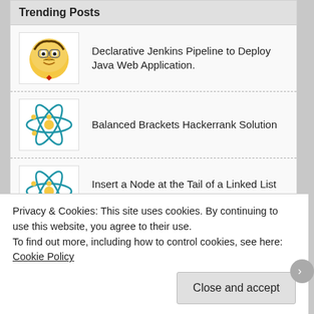Trending Posts
Declarative Jenkins Pipeline to Deploy Java Web Application.
Balanced Brackets Hackerrank Solution
Insert a Node at the Tail of a Linked List HackerRank Solution.
Print the Elements of a Linked List Hackerrank Solution
How to run Batch Scripts/Commands in Jenkinsfile
Privacy & Cookies: This site uses cookies. By continuing to use this website, you agree to their use.
To find out more, including how to control cookies, see here: Cookie Policy
Close and accept